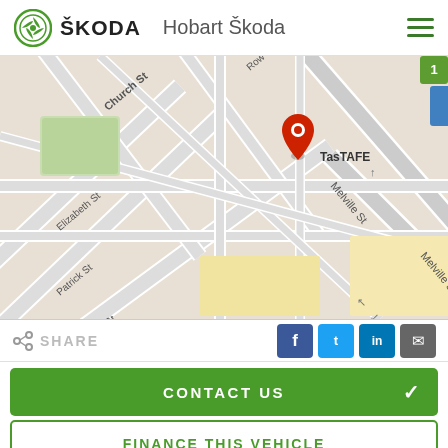Škoda  Hobart Škoda
[Figure (map): Google Maps screenshot showing Hobart city streets including Church St, Elizabeth St, Patrick St, Murray St, Melville St, with a red location pin marker in the center and a 'Your Hobart Doc' label visible, TasTAFE shown on the right side.]
SHARE
CONTACT US
FINANCE THIS VEHICLE